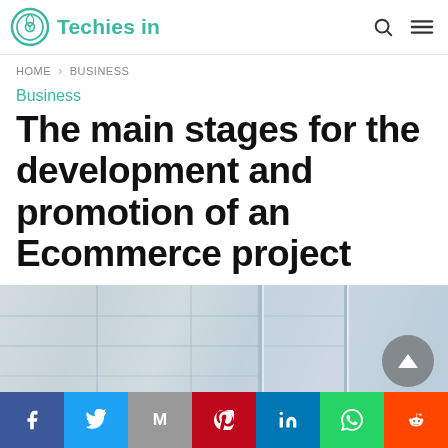Techies in
HOME > BUSINESS
Business
The main stages for the development and promotion of an Ecommerce project
[Figure (photo): Blurred office/building interior background image with vertical light streaks, partially visible]
Social share bar: Facebook, Twitter, Mail, Pinterest, LinkedIn, WhatsApp, Reddit